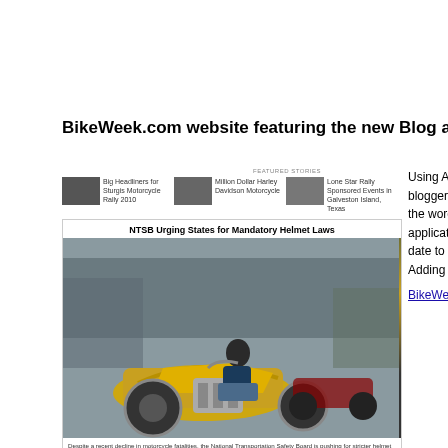BikeWeek.com website featuring the new Blog application desig…
[Figure (screenshot): Screenshot of BikeWeek.com website with featured stories row showing thumbnails for Sturgis Motorcycle Rally 2010, Million Dollar Harley Davidson Motorcycle, and Lone Star Rally Sponsored Events in Galveston Island Texas, plus a news article with headline NTSB Urging States for Mandatory Helmet Laws and a photo of a yellow chopper motorcycle being ridden at a rally]
Despite a recent decline in motorcycle fatalities, the National Transportation Safety Board is pushing for stricter helmet laws for all motorcycle riders. Depending on the type of motorcycle helmet a rider is wearing, those that meet the DOT regulations are 37% effective in preventing motorcycle fatalities for riders and 41% effective for motorcycle passengers.
Using Al's Blog ap… bloggers"), has be… the word than pos… application as sho… date to show on y… Adding pictures a…
BikeWeek.com we…